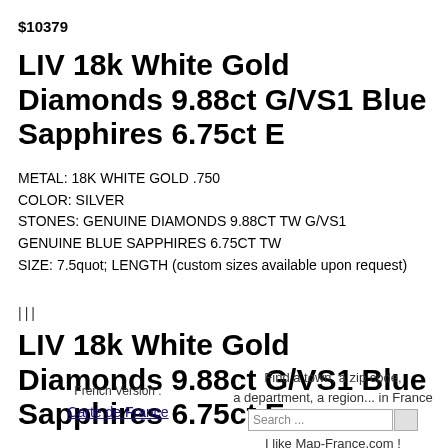$10379
LIV 18k White Gold Diamonds 9.88ct G/VS1 Blue Sapphires 6.75ct E
METAL: 18K WHITE GOLD .750
COLOR: SILVER
STONES: GENUINE DIAMONDS 9.88CT TW G/VS1
GENUINE BLUE SAPPHIRES 6.75CT TW
SIZE: 7.5quot; LENGTH (custom sizes available upon request)
|||
LIV 18k White Gold Diamonds 9.88ct G/VS1 Blue Sapphires 6.75ct E
French Version :
Carte de France
Find a town, a zip code, a department, a region... in France
Search ...
I like Map-France.com !